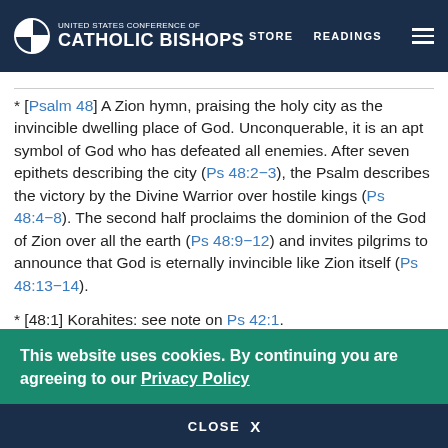United States Conference of Catholic Bishops — STORE  READINGS
* [Psalm 48] A Zion hymn, praising the holy city as the invincible dwelling place of God. Unconquerable, it is an apt symbol of God who has defeated all enemies. After seven epithets describing the city (Ps 48:2–3), the Psalm describes the victory by the Divine Warrior over hostile kings (Ps 48:4–8). The second half proclaims the dominion of the God of Zion over all the earth (Ps 48:9–12) and invites pilgrims to announce that God is eternally invincible like Zion itself (Ps 48:13–14).
* [48:1] Korahites: see note on Ps 42:1.
This website uses cookies. By continuing you are agreeing to our Privacy Policy
CLOSE  X